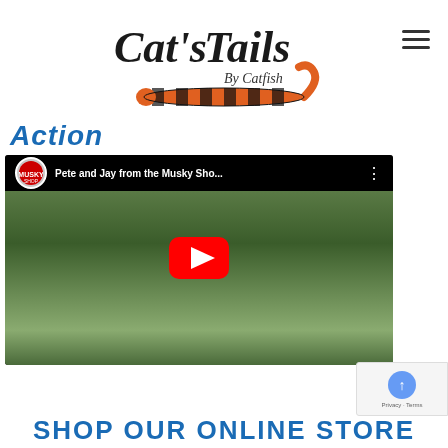[Figure (logo): Cat's Tails By Catfish logo with a snake/caterpillar design in orange and black stripes, cursive handwritten style text]
Action
[Figure (screenshot): YouTube video thumbnail showing 'Pete and Jay from the Musky Sho...' with a man holding fishing rods outdoors near water, a large red YouTube play button in the center, and a Musky Shop channel icon in the top left]
SHOP OUR ONLINE STORE